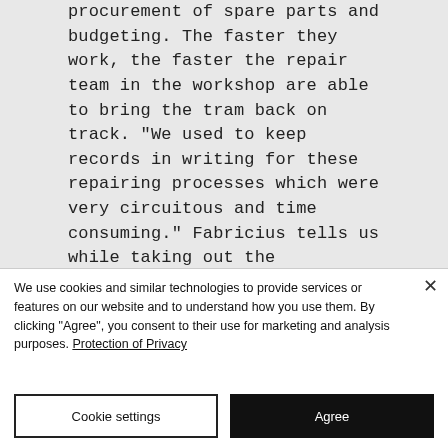procurement of spare parts and budgeting. The faster they work, the faster the repair team in the workshop are able to bring the tram back on track. "We used to keep records in writing for these repairing processes which were very circuitous and time consuming." Fabricius tells us while taking out the replacement lock out of the warehouse shelf. "We keep track in our SAP – Computer – System what is damaged, what needs to be replaced, we note the
We use cookies and similar technologies to provide services or features on our website and to understand how you use them. By clicking "Agree", you consent to their use for marketing and analysis purposes. Protection of Privacy
Cookie settings
Agree